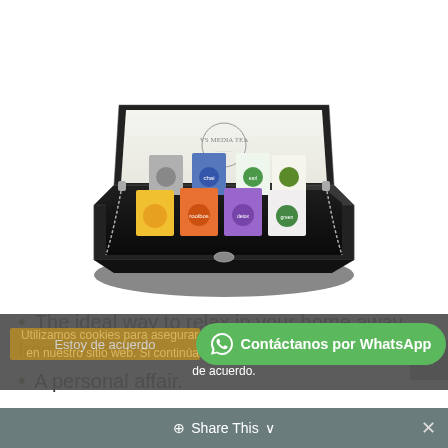[Figure (photo): Black lacquered tea box open, containing multiple colorful tea packages arranged in two rows inside the box]
The ideal way to relax in your home away from home.
A personal affair.
Utilizamos cookies para asegurar que damos la mejor experiencia al usuario en nuestro sitio web. Si continúa utilizando este sitio asumiremos que está de acuerdo.
Contáctanos por WhatsApp
Estoy de acuerdo
Share This